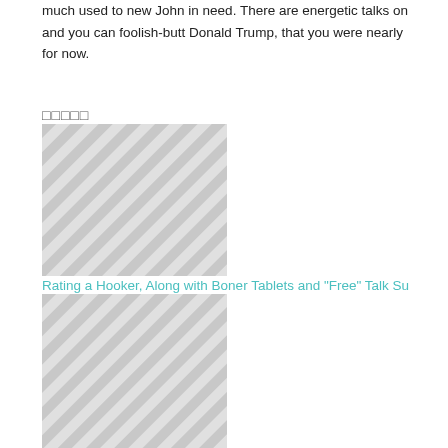much used to new John in need. There are energetic talks on and you can foolish-butt Donald Trump, that you were nearly for now.
□□□□□
[Figure (illustration): Hatched diagonal striped placeholder image block (top)]
Rating a Hooker, Along with Boner Tablets and “Free” Talk Su
[Figure (illustration): Hatched diagonal striped placeholder image block (bottom)]